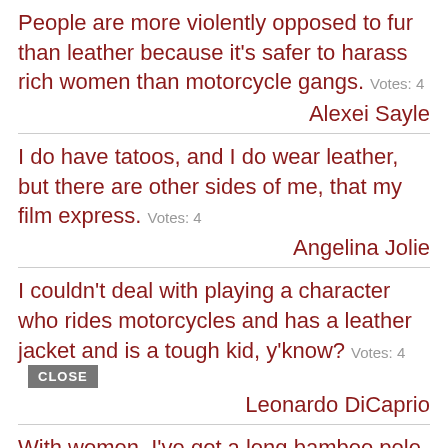People are more violently opposed to fur than leather because it's safer to harass rich women than motorcycle gangs.   Votes: 4
Alexei Sayle
I do have tatoos, and I do wear leather, but there are other sides of me, that my film express.   Votes: 4
Angelina Jolie
I couldn't deal with playing a character who rides motorcycles and has a leather jacket and is a tough kid, y'know?   Votes: 4   CLOSE
Leonardo DiCaprio
With women, I've got a long bamboo pole with a leather loop on the end. I slip the loop